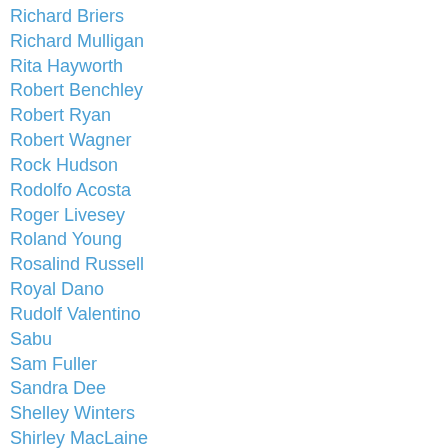Richard Briers
Richard Mulligan
Rita Hayworth
Robert Benchley
Robert Ryan
Robert Wagner
Rock Hudson
Rodolfo Acosta
Roger Livesey
Roland Young
Rosalind Russell
Royal Dano
Rudolf Valentino
Sabu
Sam Fuller
Sandra Dee
Shelley Winters
Shirley MacLaine
Shirley Temple
Skippy/Asta
Soyuzmultfilm